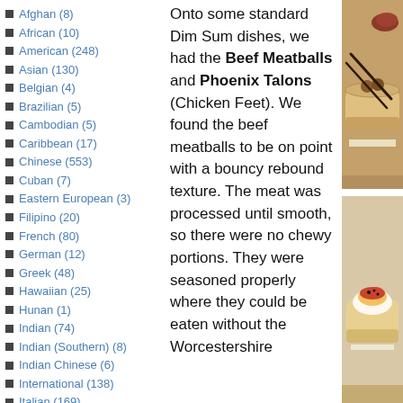Afghan (8)
African (10)
American (248)
Asian (130)
Belgian (4)
Brazilian (5)
Cambodian (5)
Caribbean (17)
Chinese (553)
Cuban (7)
Eastern European (3)
Filipino (20)
French (80)
German (12)
Greek (48)
Hawaiian (25)
Hunan (1)
Indian (74)
Indian (Southern) (8)
Indian Chinese (6)
International (138)
Italian (169)
Onto some standard Dim Sum dishes, we had the Beef Meatballs and Phoenix Talons (Chicken Feet).  We found the beef meatballs to be on point with a bouncy rebound texture.  The meat was processed until smooth, so there were no chewy portions.  They were seasoned properly where they could be eaten without the Worcestershire
[Figure (photo): Photo of dim sum bamboo steamers with meatballs and chopsticks]
[Figure (photo): Photo of dim sum dish in bamboo steamer with sauce]